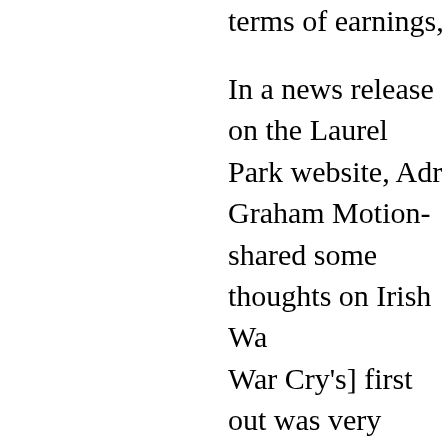terms of earnings, was the winning hors
In a news release on the Laurel Park website, Adr Graham Motion-shared some thoughts on Irish Wa War Cry's] first out was very good and we were ve trained on and improved. He's a pretty easy horse said Rolls. "Today he kind of jumped out of the ga very early and I think it surprised Feargal a little bi and gave him a good ride. He just kept him where got to idling a little bit in front but when the other h in again. It was very close again at the end but Fe enough horse."
What impressed me the most about Irish War Cry fractions that he ran. His quarter-mile fractions we and :23.46, plus the final furlong in :11.99; divide t half to get approximate times for each furlong, anc :11.95, :11.68, :11.68, :11.73, :11.73, and :11.99.